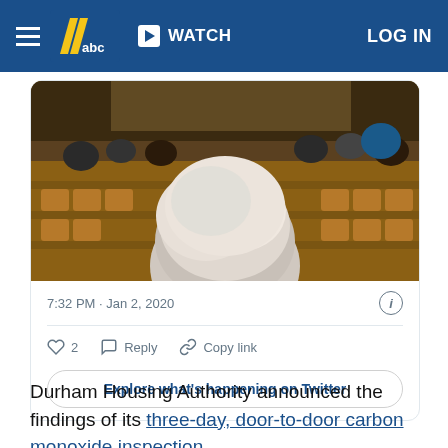WATCH  LOG IN
[Figure (screenshot): Embedded tweet showing a photo of people seated in an auditorium viewed from behind, with a person with white hair prominent in the foreground. Tweet timestamp: 7:32 PM · Jan 2, 2020. Actions: 2 likes, Reply, Copy link. Button: Explore what's happening on Twitter.]
Durham Housing Authority announced the findings of its three-day, door-to-door carbon monoxide inspection.